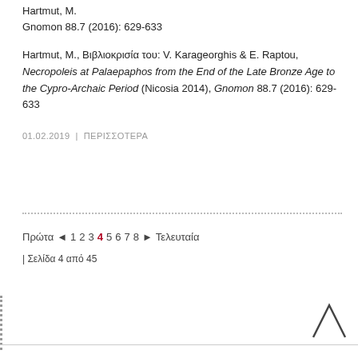Hartmut, M.
Gnomon 88.7 (2016): 629-633
Hartmut, M., Βιβλιοκρισία του: V. Karageorghis & E. Raptou, Necropoleis at Palaepaphos from the End of the Late Bronze Age to the Cypro-Archaic Period (Nicosia 2014), Gnomon 88.7 (2016): 629-633
01.02.2019 | ΠΕΡΙΣΣΟΤΕΡΑ
Πρώτα ◄ 1 2 3 4 5 6 7 8 ► Τελευταία
| Σελίδα 4 από 45